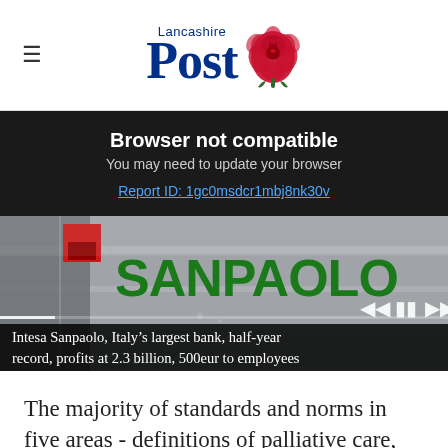Lancashire Post
Browser not compatible
You may need to update your browser
Report ID: 1gc0msdcr1mbj8nk30v
[Figure (photo): Intesa Sanpaolo bank sign photo with video player controls overlay]
Intesa Sanpaolo, Italy’s largest bank, half-year record, profits at 2.3 billion, 500eur to employees
The majority of standards and norms in five areas - definitions of palliative care, philosophy,